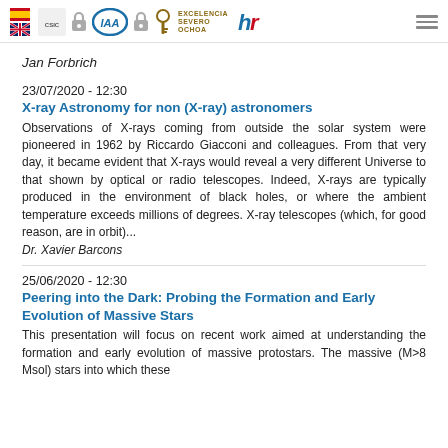IAA / CSIC / Excelencia Severo Ochoa logos and navigation
Jan Forbrich
23/07/2020 - 12:30
X-ray Astronomy for non (X-ray) astronomers
Observations of X-rays coming from outside the solar system were pioneered in 1962 by Riccardo Giacconi and colleagues. From that very day, it became evident that X-rays would reveal a very different Universe to that shown by optical or radio telescopes. Indeed, X-rays are typically produced in the environment of black holes, or where the ambient temperature exceeds millions of degrees. X-ray telescopes (which, for good reason, are in orbit)...
Dr. Xavier Barcons
25/06/2020 - 12:30
Peering into the Dark: Probing the Formation and Early Evolution of Massive Stars
This presentation will focus on recent work aimed at understanding the formation and early evolution of massive protostars. The massive (M>8 Msol) stars into which these